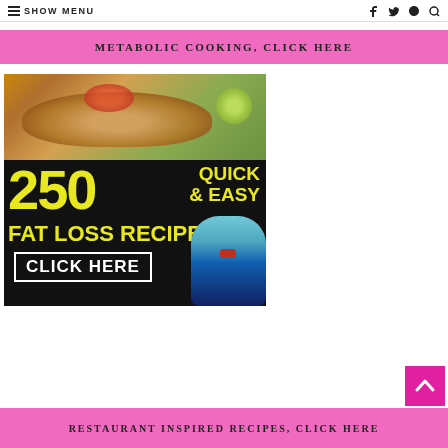≡ SHOW MENU
METABOLIC COOKING, CLICK HERE
[Figure (photo): Advertisement image showing food (grilled chicken with salsa and lime) and text '250 QUICK & EASY FAT LOSS RECIPES CLICK HERE' in yellow on black background, with a person's toned midsection visible]
RESTAURANT INSPIRED RECIPES, CLICK HERE